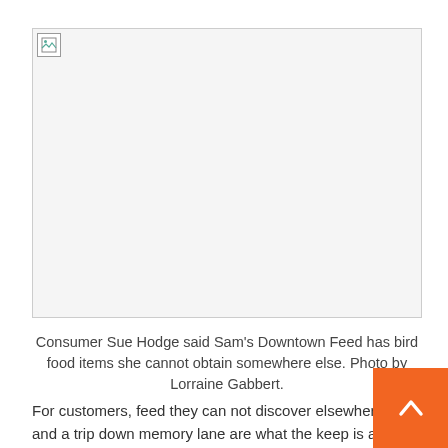[Figure (photo): Broken image placeholder for a photo of Sam's Downtown Feed bird food items]
Consumer Sue Hodge said Sam's Downtown Feed has bird food items she cannot obtain somewhere else. Photo by Lorraine Gabbert.
For customers, feed they can not discover elsewhere and a trip down memory lane are what the keep is all about.